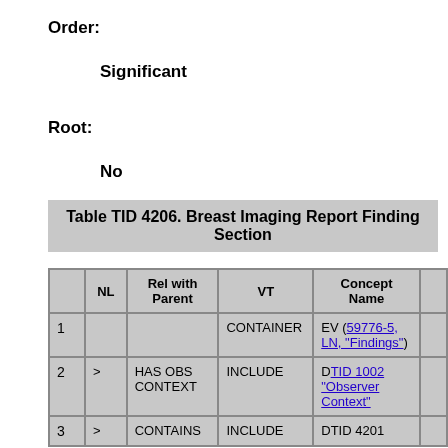Order:
Significant
Root:
No
Table TID 4206. Breast Imaging Report Finding Section
|  | NL | Rel with Parent | VT | Concept Name |  |
| --- | --- | --- | --- | --- | --- |
| 1 |  |  | CONTAINER | EV (59776-5, LN, "Findings") |  |
| 2 | > | HAS OBS CONTEXT | INCLUDE | DTID 1002 "Observer Context" |  |
| 3 | > | CONTAINS | INCLUDE | DTID 4201 |  |